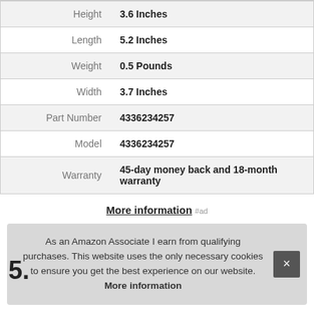|  |  |
| --- | --- |
| Height | 3.6 Inches |
| Length | 5.2 Inches |
| Weight | 0.5 Pounds |
| Width | 3.7 Inches |
| Part Number | 4336234257 |
| Model | 4336234257 |
| Warranty | 45-day money back and 18-month warranty |
More information #ad
As an Amazon Associate I earn from qualifying purchases. This website uses the only necessary cookies to ensure you get the best experience on our website. More information
5.